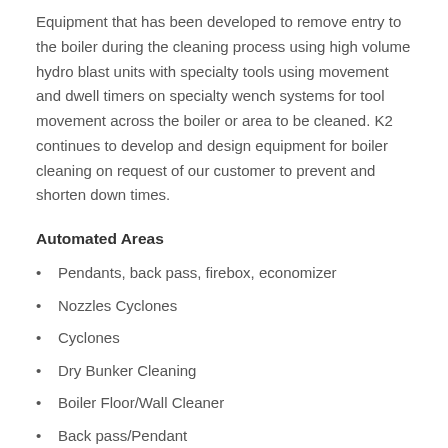Equipment that has been developed to remove entry to the boiler during the cleaning process using high volume hydro blast units with specialty tools using movement and dwell timers on specialty wench systems for tool movement across the boiler or area to be cleaned. K2 continues to develop and design equipment for boiler cleaning on request of our customer to prevent and shorten down times.
Automated Areas
Pendants, back pass, firebox, economizer
Nozzles Cyclones
Cyclones
Dry Bunker Cleaning
Boiler Floor/Wall Cleaner
Back pass/Pendant